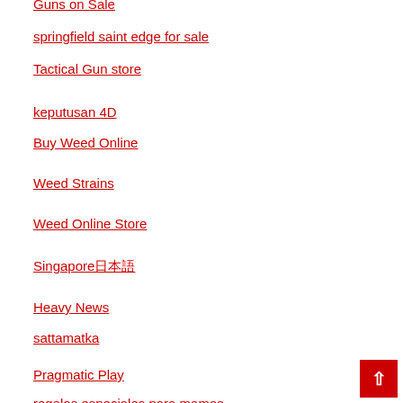Guns on Sale
springfield saint edge for sale
Tactical Gun store
keputusan 4D
Buy Weed Online
Weed Strains
Weed Online Store
Singapore日本語
Heavy News
sattamatka
Pragmatic Play
regalos especiales para mamas